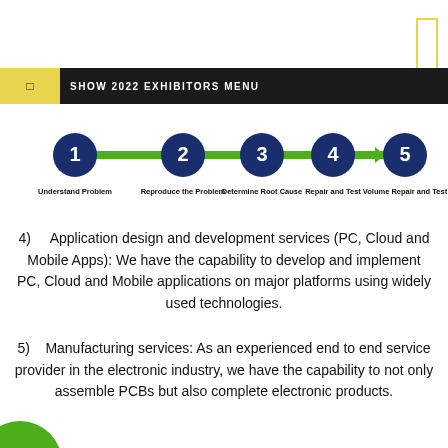SHOW 2022 EXHIBITORS MENU
[Figure (flowchart): 5-step process flow: 1 Understand Problem → 2 Reproduce the Problem → 3 Determine Root Cause → 4 Repair and Test → 5 Volume Repair and Test]
4)    Application design and development services (PC, Cloud and Mobile Apps): We have the capability to develop and implement PC, Cloud and Mobile applications on major platforms using widely used technologies.
5)    Manufacturing services: As an experienced end to end service provider in the electronic industry, we have the capability to not only assemble PCBs but also complete electronic products.